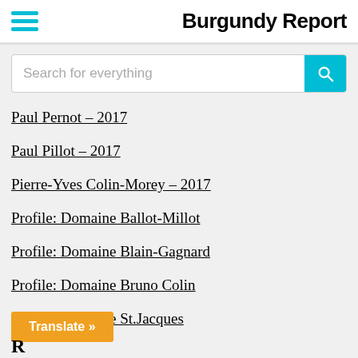Burgundy Report
Search for everything
Paul Pernot – 2017
Paul Pillot – 2017
Pierre-Yves Colin-Morey – 2017
Profile: Domaine Ballot-Millot
Profile: Domaine Blain-Gagnard
Profile: Domaine Bruno Colin
Profile: Domaine St.Jacques
Translate »
R